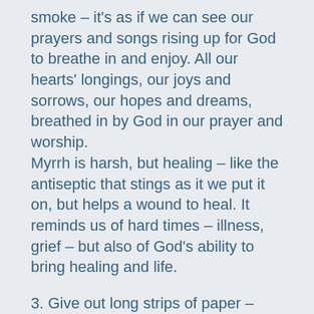smoke – it's as if we can see our prayers and songs rising up for God to breathe in and enjoy. All our hearts' longings, our joys and sorrows, our hopes and dreams, breathed in by God in our prayer and worship.
Myrrh is harsh, but healing – like the antiseptic that stings as it we put it on, but helps a wound to heal. It reminds us of hard times – illness, grief – but also of God's ability to bring healing and life.
3. Give out long strips of paper – maybe 2 feet long, by 3cm wide (I cut mine from a roll of paper) and pens. Ask the children or family groups to use just one end of their paper strip for this activity. Remind them that God gave the magi something they needed – a star to follow. On one side of the paper, ask them to write down something that they still need as a gift, for the coming year. This isn't a 'thing' like a new toy, but a more personal gift, such as more